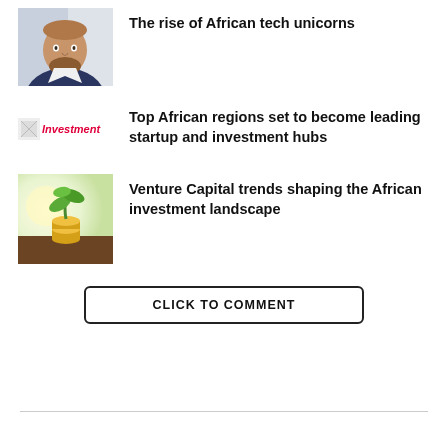[Figure (photo): Headshot of a man with a beard wearing a dark jacket]
The rise of African tech unicorns
[Figure (logo): Small icon with text 'Investment' in red italic]
Top African regions set to become leading startup and investment hubs
[Figure (photo): Photo of a plant seedling growing from a pile of coins on soil with bright background]
Venture Capital trends shaping the African investment landscape
CLICK TO COMMENT